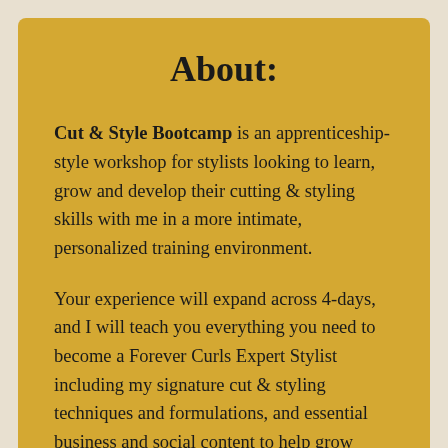About:
Cut & Style Bootcamp is an apprenticeship-style workshop for stylists looking to learn, grow and develop their cutting & styling skills with me in a more intimate, personalized training environment.
Your experience will expand across 4-days, and I will teach you everything you need to become a Forever Curls Expert Stylist including my signature cut & styling techniques and formulations, and essential business and social content to help grow your business.